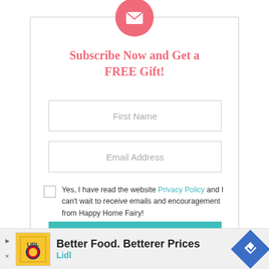[Figure (illustration): Pink circle with white envelope icon at top of subscription box]
Subscribe Now and Get a FREE Gift!
First Name
Email Address
Yes, I have read the website Privacy Policy and I can't wait to receive emails and encouragement from Happy Home Fairy!
SIGN ME UP!
[Figure (screenshot): Advertisement banner: Lidl ad with yellow logo image, text 'Better Food. Betterer Prices' and 'Lidl', blue diamond arrow icon on right]